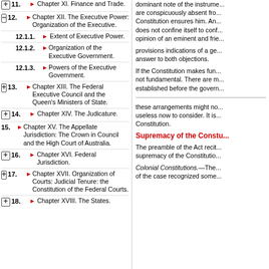11. Chapter XI. Finance and Trade.
12. Chapter XII. The Executive Power: Organization of the Executive.
12.1.1. Extent of Executive Power.
12.1.2. Organization of the Executive Government.
12.1.3. Powers of the Executive Government.
13. Chapter XIII. The Federal Executive Council and the Queen's Ministers of State.
14. Chapter XIV. The Judicature.
15. Chapter XV. The Appellate Jurisdiction: The Crown in Council and the High Court of Australia.
16. Chapter XVI. Federal Jurisdiction.
17. Chapter XVII. Organization of Courts: Judicial Tenure: the Constitution of the Federal Courts.
18. Chapter XVIII. The States.
dominant note of the instrument... are conspicuously absent from... Constitution ensures him. And... does not confine itself to conf... opinion of an eminent and frie...
provisions indications of a ge... answer to both objections.
If the Constitution makes fund... not fundamental. There are m... established before the govern...
these arrangements might no... useless now to consider. It is... Constitution.
Supremacy of the Consti...
The preamble of the Act recite... supremacy of the Constitutio...
Colonial Constitutions.—The... of the case recognized some...